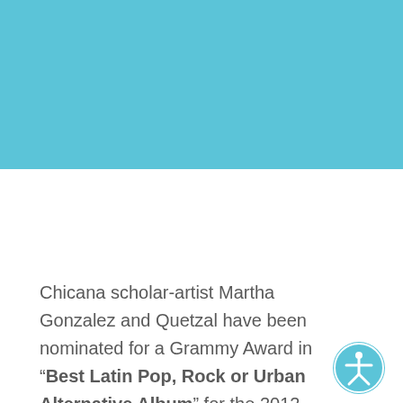[Figure (photo): Blue/teal colored background block at the top of the page, possibly part of a photo or decorative header image]
Chicana scholar-artist Martha Gonzalez and Quetzal have been nominated for a Grammy Award in “Best Latin Pop, Rock or Urban Alternative Album” for the 2012 album